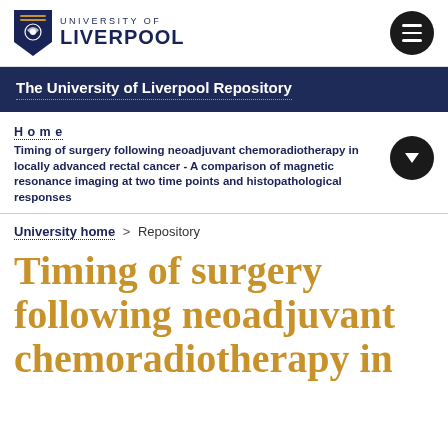[Figure (logo): University of Liverpool shield logo and wordmark]
The University of Liverpool Repository
Home
Timing of surgery following neoadjuvant chemoradiotherapy in locally advanced rectal cancer - A comparison of magnetic resonance imaging at two time points and histopathological responses
University home > Repository
Timing of surgery following neoadjuvant chemoradiotherapy in